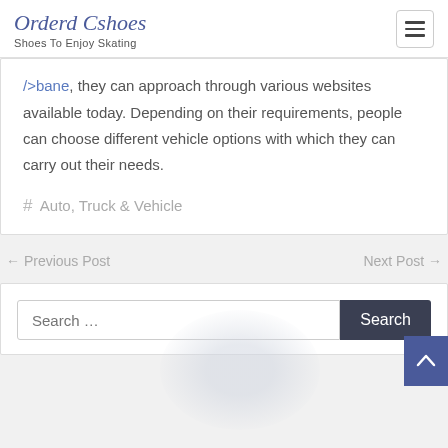Orderd Cshoes
Shoes To Enjoy Skating
/>bane, they can approach through various websites available today. Depending on their requirements, people can choose different vehicle options with which they can carry out their needs.
# Auto, Truck & Vehicle
← Previous Post    Next Post →
Search ...  Search